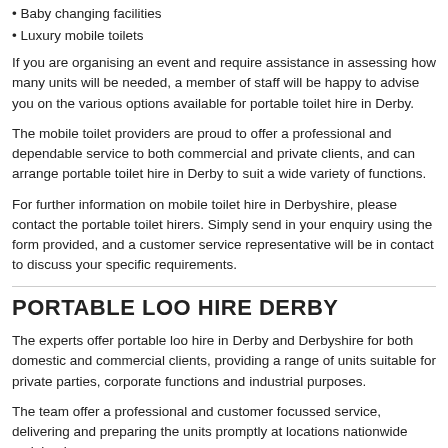• Baby changing facilities
• Luxury mobile toilets
If you are organising an event and require assistance in assessing how many units will be needed, a member of staff will be happy to advise you on the various options available for portable toilet hire in Derby.
The mobile toilet providers are proud to offer a professional and dependable service to both commercial and private clients, and can arrange portable toilet hire in Derby to suit a wide variety of functions.
For further information on mobile toilet hire in Derbyshire, please contact the portable toilet hirers. Simply send in your enquiry using the form provided, and a customer service representative will be in contact to discuss your specific requirements.
PORTABLE LOO HIRE DERBY
The experts offer portable loo hire in Derby and Derbyshire for both domestic and commercial clients, providing a range of units suitable for private parties, corporate functions and industrial purposes.
The team offer a professional and customer focussed service, delivering and preparing the units promptly at locations nationwide mainland.
All facilities are thoroughly cleaned prior to use, and hand wash and toilet rolls are provided as part of the service, so customers can rest assured that the units will arrive in a sanitary and hygienic state.
Mobile restroom hire in Derby is ideal for a wide range of functions, such as weddings, corporate functions and festivals. The company also portable toilet hire...